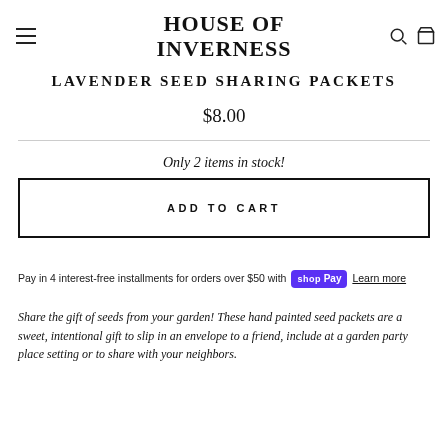HOUSE OF INVERNESS
LAVENDER SEED SHARING PACKETS
$8.00
Only 2 items in stock!
ADD TO CART
Pay in 4 interest-free installments for orders over $50 with Shop Pay Learn more
Share the gift of seeds from your garden! These hand painted seed packets are a sweet, intentional gift to slip in an envelope to a friend, include at a garden party place setting or to share with your neighbors.